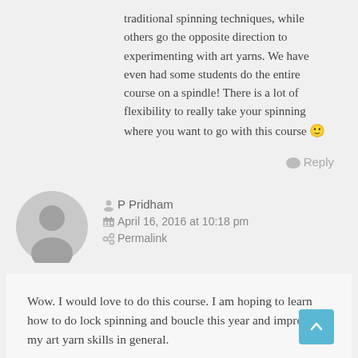traditional spinning techniques, while others go the opposite direction to experimenting with art yarns. We have even had some students do the entire course on a spindle! There is a lot of flexibility to really take your spinning where you want to go with this course 🙂
Reply
P Pridham
April 16, 2016 at 10:18 pm
Permalink
Wow. I would love to do this course. I am hoping to learn how to do lock spinning and boucle this year and improve my art yarn skills in general.
Reply